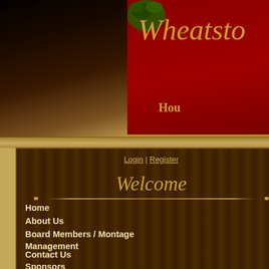Wheatsto
Hou
Login | Register
Welcome
Home
About Us
Board Members / Montage Management
Contact Us
Sponsors
Residents
Upcoming Events
Mtg Minutes/Budgets
Documents
Forms
[Figure (photo): Stone entrance sign with large letter W on white background, surrounded by stacked stone masonry and green trees in background]